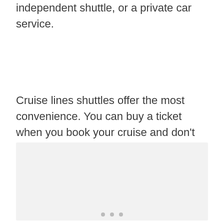independent shuttle, or a private car service.
Cruise lines shuttles offer the most convenience. You can buy a ticket when you book your cruise and don't have to get a ride from a third party. However, you will pay for that convenience.
[Figure (photo): Light gray placeholder image box with three small dots at the bottom center]